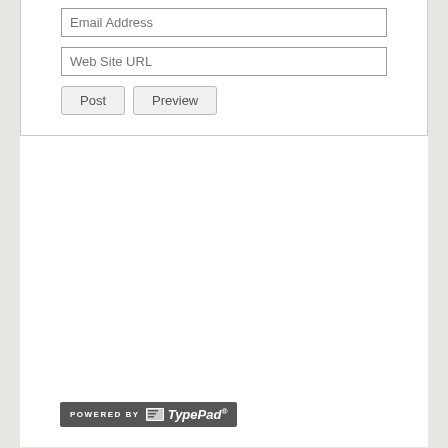Email Address
Web Site URL
Post | Preview
[Figure (logo): POWERED BY TypePad badge — dark grey background with white text 'POWERED BY' and TypePad logo in white italic with registered mark]
About